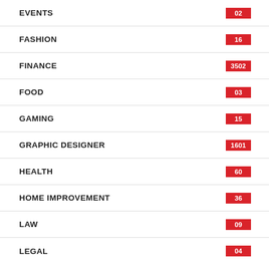EVENTS
FASHION
FINANCE
FOOD
GAMING
GRAPHIC DESIGNER
HEALTH
HOME IMPROVEMENT
LAW
LEGAL